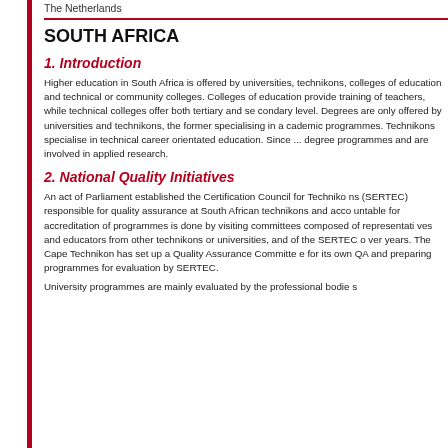The Netherlands
SOUTH AFRICA
1. Introduction
Higher education in South Africa is offered by universities, technikons, colleges of education and technical or community colleges. Colleges of education provide training of teachers, while technical colleges offer both tertiary and secondary level. Degrees are only offered by universities and technikons, the former specialising in academic programmes. Technikons specialise in technical career orientated education. Since ... degree programmes and are involved in applied research.
2. National Quality Initiatives
An act of Parliament established the Certification Council for Technikons (SERTEC) responsible for quality assurance at South African technikons and accreditation of programmes is done by visiting committees composed of representatives and educators from other technikons or universities, and of the SERTEC over years. The Cape Technikon has set up a Quality Assurance Committee for its own QA and preparing programmes for evaluation by SERTEC.
University programmes are mainly evaluated by the professional bodies